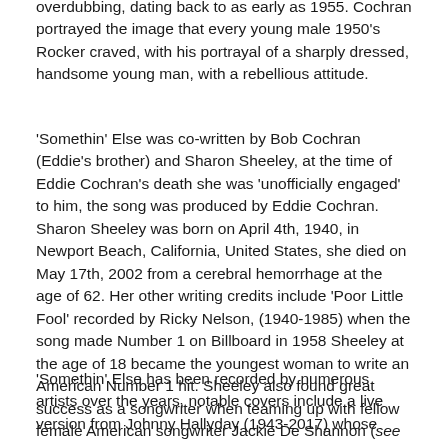overdubbing, dating back to as early as 1955. Cochran portrayed the image that every young male 1950's Rocker craved, with his portrayal of a sharply dressed, handsome young man, with a rebellious attitude.
'Somethin' Else was co-written by Bob Cochran (Eddie's brother) and Sharon Sheeley, at the time of Eddie Cochran's death she was 'unofficially engaged' to him, the song was produced by Eddie Cochran. Sharon Sheeley was born on April 4th, 1940, in Newport Beach, California, United States, she died on May 17th, 2002 from a cerebral hemorrhage at the age of 62. Her other writing credits include 'Poor Little Fool' recorded by Ricky Nelson, (1940-1985) when the song made Number 1 on Billboard in 1958 Sheeley at the age of 18 became the youngest woman to write an American Number 1 hit. Sheeley also found great success as a songwriter when teaming up with fellow female American songwriter Jackie De Shannon (see also best songs 573.)
'Somethin' Else has been recorded by numerous artists over the years, notable covers include a live version from Johnny Hallyday (1943-2017) whose